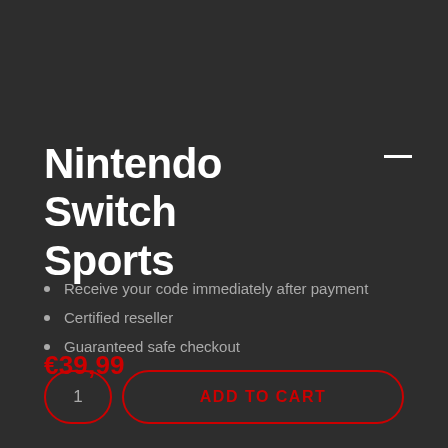Nintendo Switch Sports
Receive your code immediately after payment
Certified reseller
Guaranteed safe checkout
€39,99
1  ADD TO CART